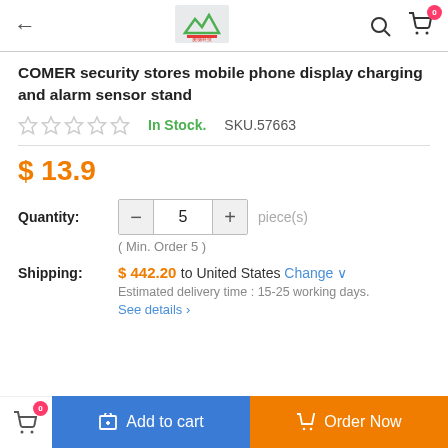← [logo] [search] [cart 0]
COMER security stores mobile phone display charging and alarm sensor stand
In Stock.  SKU.57663
$ 13.9
Quantity: 5 piece(s) ( Min. Order 5 )
Shipping: $ 442.20 to United States Change  Estimated delivery time : 15-25 working days. See details >
Add to cart  Order Now